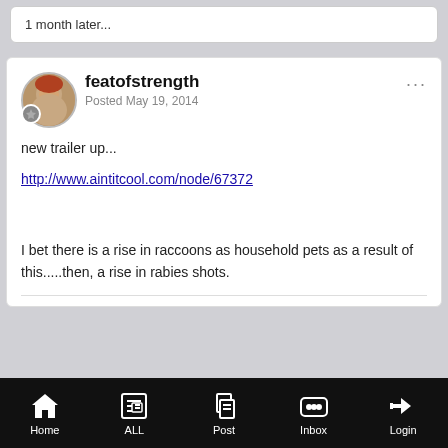1 month later...
featofstrength
Posted May 19, 2014
new trailer up...
http://www.aintitcool.com/node/67372
I bet there is a rise in raccoons as household pets as a result of this.....then, a rise in rabies shots.
Home  ALL  Post  Inbox  Login